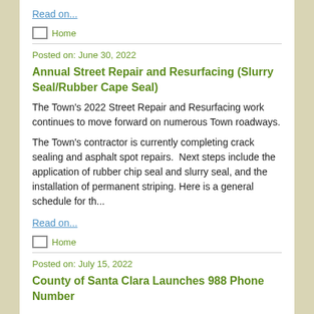Read on...
Home
Posted on: June 30, 2022
Annual Street Repair and Resurfacing (Slurry Seal/Rubber Cape Seal)
The Town's 2022 Street Repair and Resurfacing work continues to move forward on numerous Town roadways.
The Town's contractor is currently completing crack sealing and asphalt spot repairs.  Next steps include the application of rubber chip seal and slurry seal, and the installation of permanent striping. Here is a general schedule for th...
Read on...
Home
Posted on: July 15, 2022
County of Santa Clara Launches 988 Phone Number